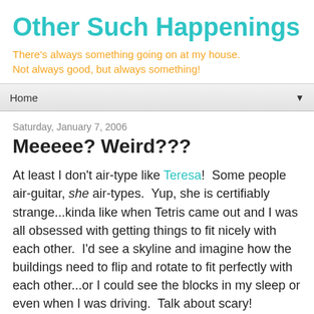Other Such Happenings
There's always something going on at my house. Not always good, but always something!
Home
Saturday, January 7, 2006
Meeeee? Weird???
At least I don't air-type like Teresa!  Some people air-guitar, she air-types.  Yup, she is certifiably strange...kinda like when Tetris came out and I was all obsessed with getting things to fit nicely with each other.  I'd see a skyline and imagine how the buildings need to flip and rotate to fit perfectly with each other...or I could see the blocks in my sleep or even when I was driving.  Talk about scary!